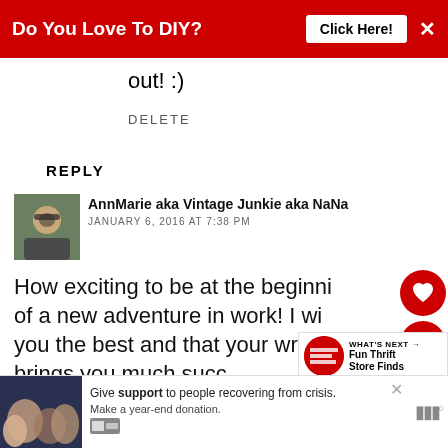[Figure (screenshot): Red banner advertisement: 'Do You Love To DIY? Click Here!' with X close button]
out! :)
DELETE
REPLY
AnnMarie aka Vintage Junkie aka NaNa
JANUARY 6, 2016 AT 7:38 PM
How exciting to be at the beginning of a new adventure in work! I wish you the best and that your writing brings you much success and fulfillment. Happy New Year and New Adventure!
[Figure (screenshot): Bottom advertisement: Give support to people recovering from crisis. Make a year-end donation.]